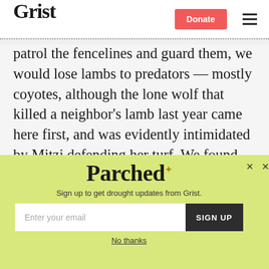Grist | Donate
patrol the fencelines and guard them, we would lose lambs to predators — mostly coyotes, although the lone wolf that killed a neighbor's lamb last year came here first, and was evidently intimidated by Mitzi defending her turf. We found his big tracks outside the fence the next day.
[Figure (screenshot): Parched newsletter signup popup with email input field and SIGN UP button on yellow-green background]
Sign up to get drought updates from Grist.
No thanks